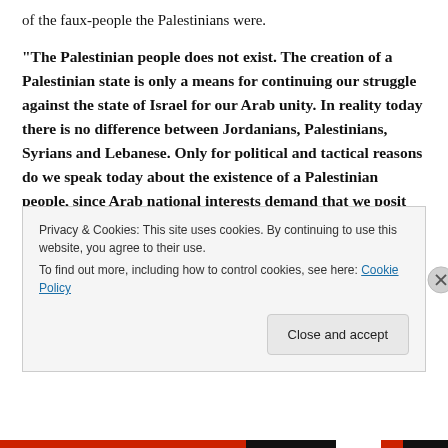of the faux-people the Palestinians were.
“The Palestinian people does not exist. The creation of a Palestinian state is only a means for continuing our struggle against the state of Israel for our Arab unity. In reality today there is no difference between Jordanians, Palestinians, Syrians and Lebanese. Only for political and tactical reasons do we speak today about the existence of a Palestinian people, since Arab national interests demand that we posit the existence of a distinct ‘Palestinian people’ to oppose
Privacy & Cookies: This site uses cookies. By continuing to use this website, you agree to their use.
To find out more, including how to control cookies, see here: Cookie Policy